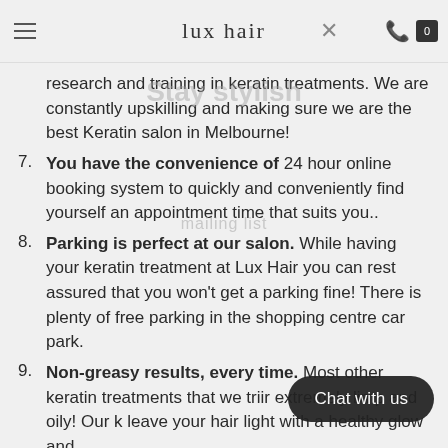lux hair
research and training in keratin treatments. We are constantly upskilling and making sure we are the best Keratin salon in Melbourne!
7. You have the convenience of 24 hour online booking system to quickly and conveniently find yourself an appointment time that suits you..
8. Parking is perfect at our salon. While having your keratin treatment at Lux Hair you can rest assured that you won't get a parking fine! There is plenty of free parking in the shopping centre car park.
9. Non-greasy results, every time. Most other keratin treatments that we tried leave your hair extremely limp and oily! Our keratin will leave your hair light with a healthy glow and